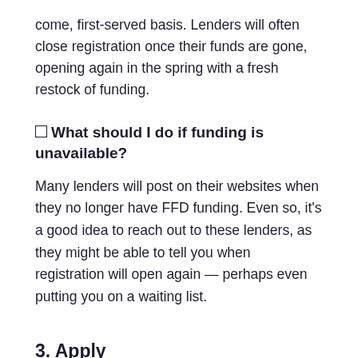come, first-served basis. Lenders will often close registration once their funds are gone, opening again in the spring with a fresh restock of funding.
☐ What should I do if funding is unavailable?
Many lenders will post on their websites when they no longer have FFD funding. Even so, it's a good idea to reach out to these lenders, as they might be able to tell you when registration will open again — perhaps even putting you on a waiting list.
3. Apply